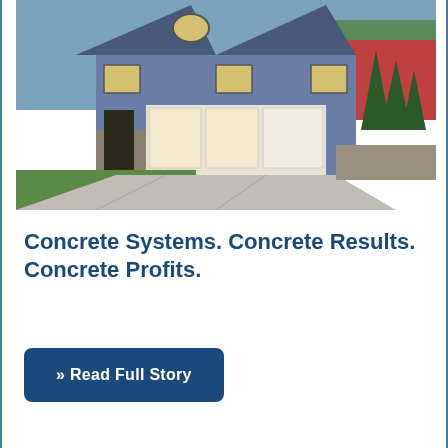[Figure (photo): Exterior photo of a large blue craftsman-style house with three-car garage, wide concrete driveway, green lawn, stone retaining wall, and trees/red fence in the background.]
Concrete Systems. Concrete Results. Concrete Profits.
» Read Full Story